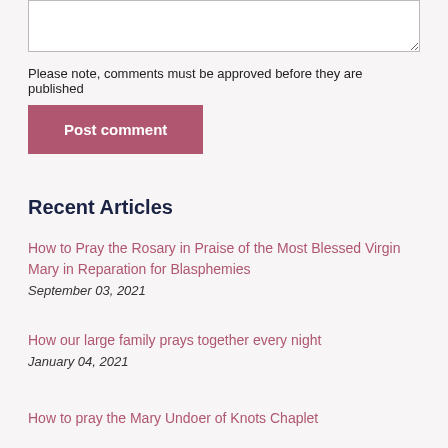Please note, comments must be approved before they are published
Post comment
Recent Articles
How to Pray the Rosary in Praise of the Most Blessed Virgin Mary in Reparation for Blasphemies
September 03, 2021
How our large family prays together every night
January 04, 2021
How to pray the Mary Undoer of Knots Chaplet